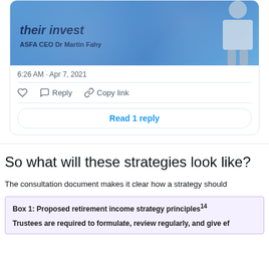[Figure (screenshot): Twitter/social media card showing a tweet with a blue promotional image featuring text 'ASFA CEO Dr Martin Fahy' and a person in the background]
6:26 AM · Apr 7, 2021
♡   Reply   Copy link
Read 1 reply
So what will these strategies look like?
The consultation document makes it clear how a strategy should
Box 1: Proposed retirement income strategy principles¹⁴

Trustees are required to formulate, review regularly, and give ef...